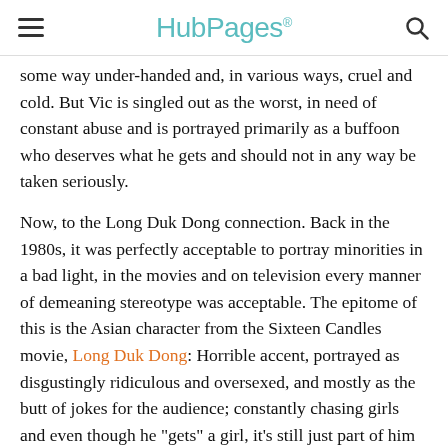HubPages
some way under-handed and, in various ways, cruel and cold. But Vic is singled out as the worst, in need of constant abuse and is portrayed primarily as a buffoon who deserves what he gets and should not in any way be taken seriously.
Now, to the Long Duk Dong connection. Back in the 1980s, it was perfectly acceptable to portray minorities in a bad light, in the movies and on television every manner of demeaning stereotype was acceptable. The epitome of this is the Asian character from the Sixteen Candles movie, Long Duk Dong: Horrible accent, portrayed as disgustingly ridiculous and oversexed, and mostly as the butt of jokes for the audience; constantly chasing girls and even though he "gets" a girl, it's still just part of him being ridiculous; really the audience is left feeling any girl would have every right to reject and demean him because he's a disgusting Asian. Certainly the lead character, played by Molly Ringwald, wants nothing to do with him. The character has been the